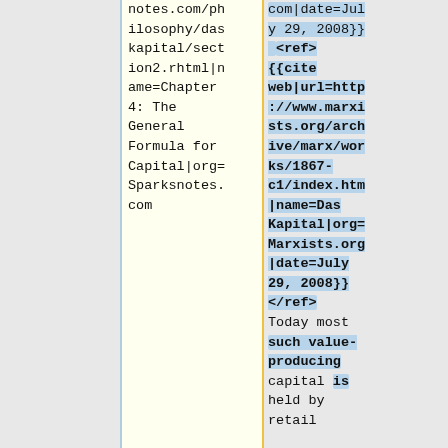notes.com/philosophy/daskapital/section2.rhtml|name=Chapter 4: The General Formula for Capital|org=Sparksnotes.com
com|date=July 29, 2008}}</ref> <ref>{{cite web|url=http://www.marxists.org/archive/marx/works/1867-c1/index.htm|name=Das Kapital|org=Marxists.org|date=July 29, 2008}}</ref> Today most such value-producing capital is held by retail